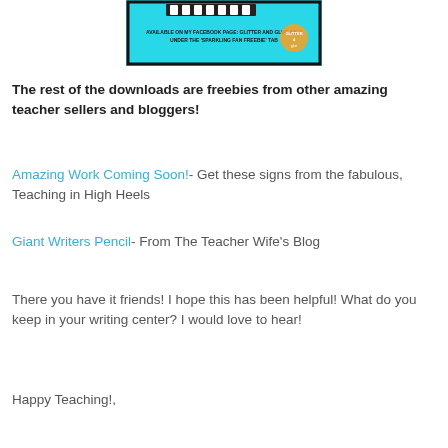[Figure (screenshot): Turquoise promotional banner with text 'AVAILABLE ON MY FACEBOOK PAGE: GLITTER AND GLUE 4 K-2 UNDER THE SPARKLING FAN FREEBIE TAB' with a decorative film strip border and small logo]
The rest of the downloads are freebies from other amazing teacher sellers and bloggers!
Amazing Work Coming Soon!- Get these signs from the fabulous, Teaching in High Heels
Giant Writers Pencil- From The Teacher Wife's Blog
There you have it friends! I hope this has been helpful! What do you keep in your writing center? I would love to hear!
Happy Teaching!,